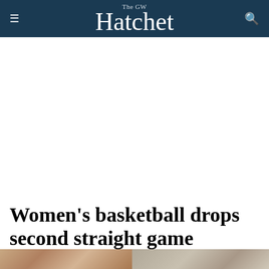The GW Hatchet
Women's basketball drops second straight game
[Figure (photo): Two partial photo thumbnails at the bottom of the page, showing what appear to be basketball-related images]